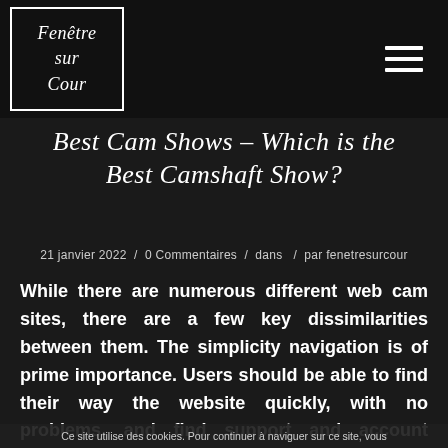Fenêtre sur Cour
Best Cam Shows – Which is the Best Camshaft Show?
21 janvier 2022 / 0 Commentaires / dans / par fenetresurcour
While there are numerous different web cam sites, there are a few key dissimilarities between them. The simplicity navigation is of prime importance. Users should be able to find their way the website quickly, with no problems, and find support and account settings fast. Likewise, sign up shouldn't be a hassle. This is because user experience
Ce site utilise des cookies. Pour continuer à naviguer sur ce site, vous